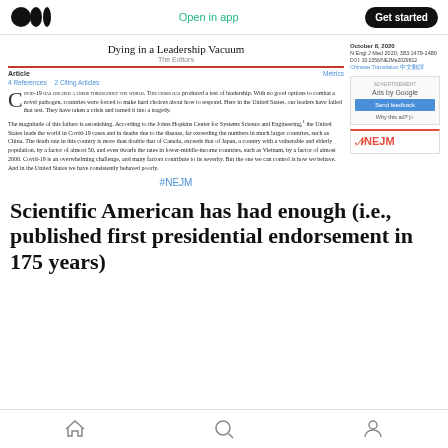Open in app | Get started
Dying in a Leadership Vacuum
The Editors
Article | Metrics | 4 References | 2 Citing Articles
COVID-19 HAS CREATED A CRISIS THROUGHOUT THE WORLD. THIS CRISIS HAS produced a test of leadership. With no good options to combat a novel pathogen, countries were forced to make hard choices about how to respond. Here in the United States, our leaders have failed that test. They have taken a crisis and turned it into a tragedy.
The magnitude of this failure is astonishing. According to the Johns Hopkins Center for Systems Science and Engineering,1 the United States leads the world in Covid-19 cases and in deaths due to the disease, far exceeding the numbers in much larger countries, such as China. The death rate in this country is more than double that of Canada, exceeds that of Japan, a country with a vulnerable and elderly population, by a factor of almost 50, and even dwarfs the rates in lower-middle-income countries, such as Vietnam, by a factor of almost 2000. Covid-19 is an overwhelming challenge, and many factors contribute to its severity. But the one we can control is how we behave. And in the United States we have consistently behaved poorly.
#NEJM
October 8, 2020
N Engl J Med 2020; 383:1479-1480
DOI: 10.1056/NEJMe2029812
Chinese Translation 中文翻譯
[Figure (screenshot): Ads by Google box with Send feedback button and Why this ad link]
[Figure (logo): NEJM logo in red]
Scientific American has had enough (i.e., published first presidential endorsement in 175 years)
Home | Search | Profile